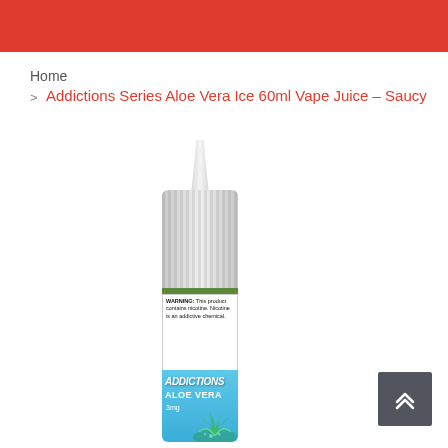Home
> Addictions Series Aloe Vera Ice 60ml Vape Juice – Saucy
[Figure (photo): A 60ml vape juice bottle from the Addictions Series, Aloe Vera Ice flavor. The bottle has a white ribbed dropper cap and tip, a green band, a white warning label, and a blue lower section with 'ADDICTIONS' and 'ALOE VERA' text with aloe plant graphics.]
[Figure (other): Scroll-to-top button, dark grey square with double upward chevron arrows.]